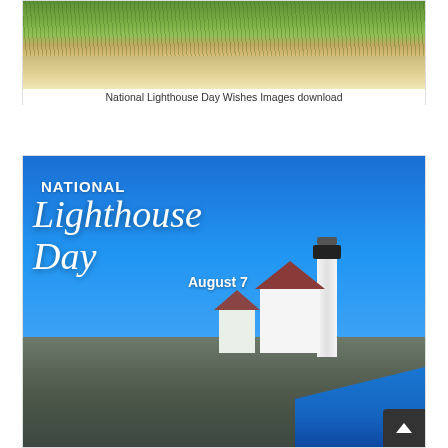[Figure (photo): Aerial or close-up view of sandy beach with green coastal grass/dunes at the top of the frame]
National Lighthouse Day  Wishes Images download
[Figure (illustration): National Lighthouse Day promotional graphic featuring a white lighthouse on rocky Maine coastline with buildings, blue sky, and text reading NATIONAL Lighthouse Day August 7]